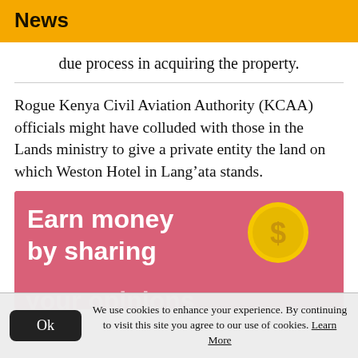News
due process in acquiring the property.
Rogue Kenya Civil Aviation Authority (KCAA) officials might have colluded with those in the Lands ministry to give a private entity the land on which Weston Hotel in Lang’ata stands.
[Figure (infographic): Pink advertisement banner with white bold text reading 'Earn money by sharing your opinions' and a yellow coin graphic with a dollar sign on the right.]
We use cookies to enhance your experience. By continuing to visit this site you agree to our use of cookies. Learn More